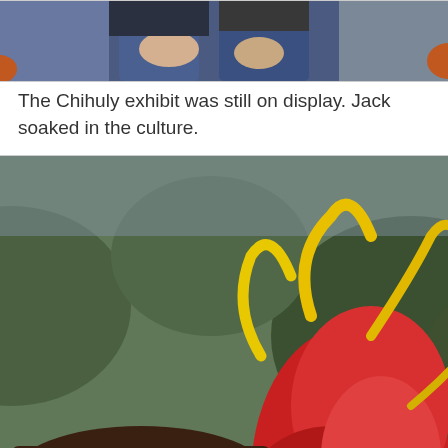[Figure (photo): Partial photo at top of page showing people sitting, cropped - only lower bodies visible with pumpkins in background]
The Chihuly exhibit was still on display. Jack soaked in the culture.
[Figure (photo): A young boy wearing a brown cap and brown sweater smiling at the camera, with a large red and yellow Chihuly glass sculpture behind him in a garden setting with trees and pumpkins visible]